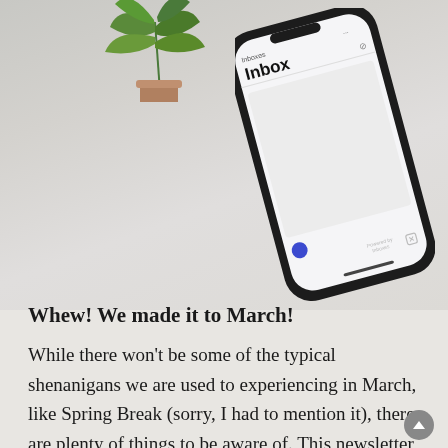[Figure (photo): Photo of a smartphone showing an inbox screen, tilted at an angle, with a green plant in the top-left corner, on a light gray/beige blurred background.]
Whew! We made it to March!
While there won't be some of the typical shenanigans we are used to experiencing in March, like Spring Break (sorry, I had to mention it), there are plenty of things to be aware of. This newsletter may run a little longer than most, as